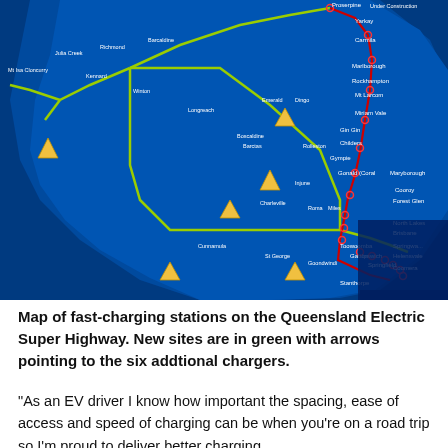[Figure (map): Map of Queensland showing fast-charging stations on the Queensland Electric Super Highway. Green lines show highway routes across Queensland with yellow arrow markers indicating six new additional charging sites. Red dots along the coast mark existing stations. Blue ocean background with place names labeled (Proserpine, Yarkay, Carmila, Marlborough, Rockhampton, Mt Larcom, Miriam Vale, Gin Gin, Childers, Gympie, Cooroy, Forest Glen, North Lakes, Brisbane, Springwood, Helensvale, Coomera, Stanthorpe, Toowoomba, Gatton, Ipswich, Springfield, Mt Isa, Cloncurry, Julia Creek, Richmond, Barcaldine, Emerald, Longreach, Winton, Kennard, Barctas, Rolleston, Injune, Charleville, Roma, Niles, St George, Goondiwindi, Cunnamulla, Moranbah). Under Construction label at top right.]
Map of fast-charging stations on the Queensland Electric Super Highway. New sites are in green with arrows pointing to the six addtional chargers.
“As an EV driver I know how important the spacing, ease of access and speed of charging can be when you’re on a road trip so I’m proud to deliver better charging